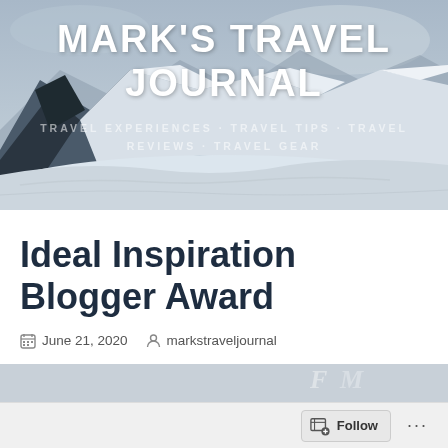[Figure (photo): Blog header banner with black and white mountain/snow landscape. Large bold white text reads MARK'S TRAVEL JOURNAL. Semi-transparent watermark text underneath reads TRAVEL EXPERIENCES, TRAVEL TIPS, TRAVEL REVIEWS, TRAVEL GEAR.]
Ideal Inspiration Blogger Award
June 21, 2020   markstraveljournal